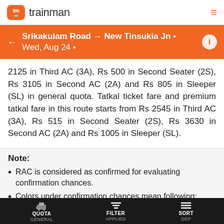tm trainman
Srikakulam Road → New Tinsukia Jn • Wed, Aug 24 •
2125 in Third AC (3A), Rs 500 in Second Seater (2S), Rs 3105 in Second AC (2A) and Rs 805 in Sleeper (SL) in general quota. Tatkal ticket fare and premium tatkal fare in this route starts from Rs 2545 in Third AC (3A), Rs 515 in Second Seater (2S), Rs 3630 in Second AC (2A) and Rs 1005 in Sleeper (SL).
Note:
RAC is considered as confirmed for evaluating confirmation chances.
Colors under confirmation chances mean following:
Red – Not likely to confirm.
– Difficult to predict if this will confirm or not.
QUOTA GENERAL | FILTER APPLIED | SORT DEP